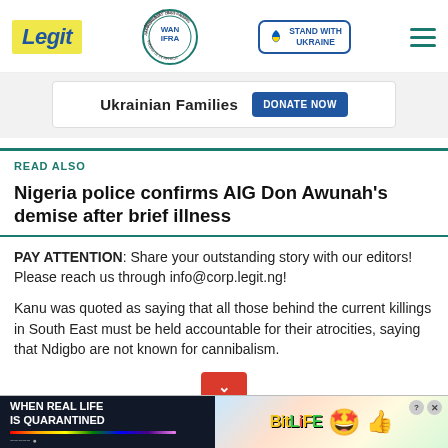Legit | WAN IFRA 2021 Best News Website in Africa | Stand With Ukraine
[Figure (screenshot): Banner ad for Ukrainian Families with DONATE NOW button]
READ ALSO
Nigeria police confirms AIG Don Awunah's demise after brief illness
PAY ATTENTION: Share your outstanding story with our editors! Please reach us through info@corp.legit.ng!
Kanu was quoted as saying that all those behind the current killings in South East must be held accountable for their atrocities, saying that Ndigbo are not known for cannibalism.
[Figure (screenshot): Bottom advertisement: BitLife game ad with rainbow bar and emoji characters]